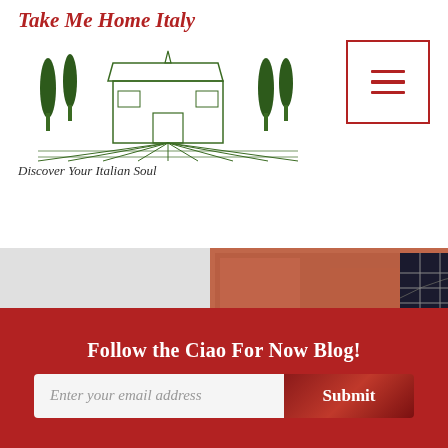Take Me Home Italy
[Figure (logo): Illustrated logo of an Italian farmhouse with cypress trees and vineyard rows, drawn in green ink style]
Discover Your Italian Soul
[Figure (other): Hamburger menu button — three horizontal lines in dark red/maroon inside a square border]
[Figure (photo): Photograph of a terracotta/red-ochre Italian building facade with an arched iron grate window at top, a yellow stone inscription plaque in the middle, and a dark doorway at the bottom]
Follow the Ciao For Now Blog!
Enter your email address
Submit